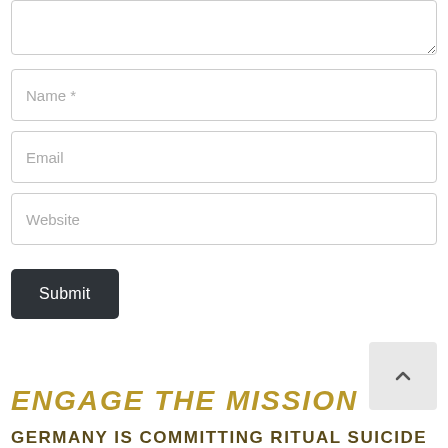[Figure (screenshot): Textarea input field (partially visible at top, with resize handle at bottom-right corner)]
Name *
Email
Website
Submit
ENGAGE THE MISSION
GERMANY IS COMMITTING RITUAL SUICIDE